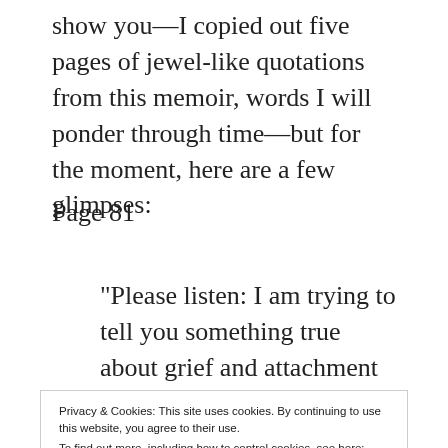show you—I copied out five pages of jewel-like quotations from this memoir, words I will ponder through time—but for the moment, here are a few glimpses:
Page 81
“Please listen:  I am trying to tell you something true about grief and attachment
Privacy & Cookies: This site uses cookies. By continuing to use this website, you agree to their use.
To find out more, including how to control cookies, see here: Cookie Policy
mother’s stories and I inherited much more